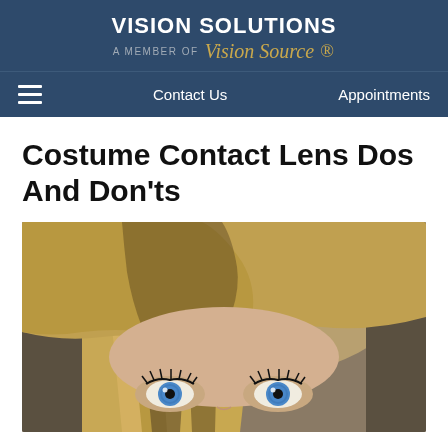VISION SOLUTIONS
A MEMBER OF Vision Source
Contact Us   Appointments
Costume Contact Lens Dos And Don'ts
[Figure (photo): Close-up photo of a woman with blonde bangs looking upward with striking blue eyes, possibly wearing costume contact lenses]